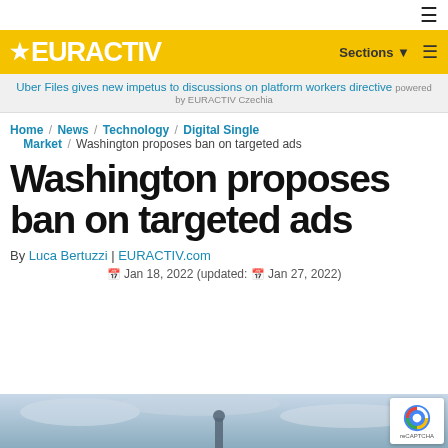≡
[Figure (logo): EURACTIV logo with star on yellow background header bar with Sections menu and hamburger icon]
Uber Files gives new impetus to discussions on platform workers directive powered by EURACTIV Czechia
Home / News / Technology / Digital Single Market / Washington proposes ban on targeted ads
Washington proposes ban on targeted ads
By Luca Bertuzzi | EURACTIV.com
Jan 18, 2022 (updated: Jan 27, 2022)
[Figure (photo): Partial photo of a monument or statue against a cloudy sky, cut off at bottom of page]